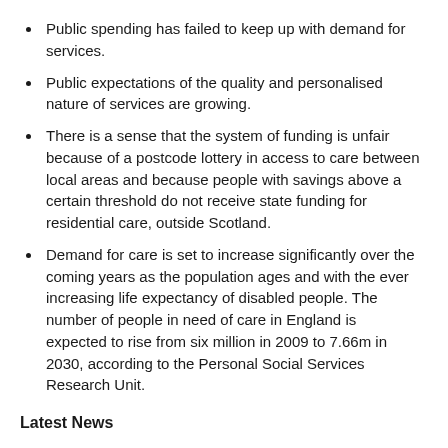Public spending has failed to keep up with demand for services.
Public expectations of the quality and personalised nature of services are growing.
There is a sense that the system of funding is unfair because of a postcode lottery in access to care between local areas and because people with savings above a certain threshold do not receive state funding for residential care, outside Scotland.
Demand for care is set to increase significantly over the coming years as the population ages and with the ever increasing life expectancy of disabled people. The number of people in need of care in England is expected to rise from six million in 2009 to 7.66m in 2030, according to the Personal Social Services Research Unit.
Latest News